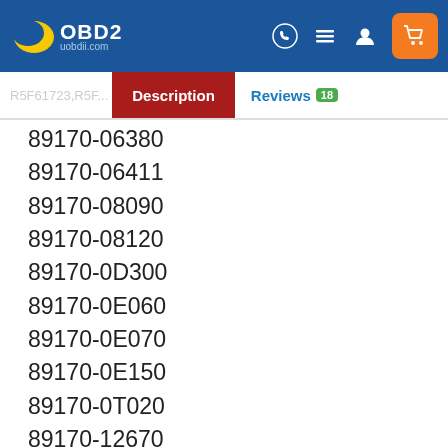OBD2 uobdii.com
Description | Reviews 18
89170-06380
89170-06411
89170-08090
89170-08120
89170-0D300
89170-0E060
89170-0E070
89170-0E150
89170-0T020
89170-12670
89170-21110
89170-21150
89170-30A60
89170-33570
89170-35250